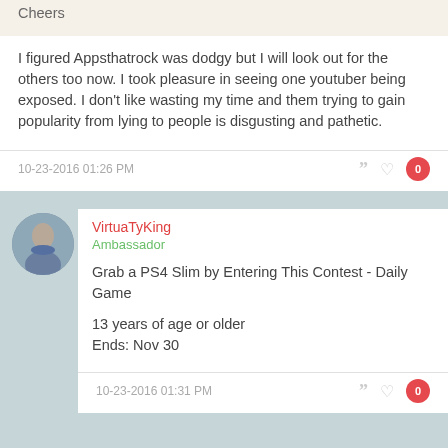Cheers
I figured Appsthatrock was dodgy but I will look out for the others too now. I took pleasure in seeing one youtuber being exposed. I don't like wasting my time and them trying to gain popularity from lying to people is disgusting and pathetic.
10-23-2016 01:26 PM
VirtuaTyKing
Ambassador
Grab a PS4 Slim by Entering This Contest - Daily Game
13 years of age or older
Ends: Nov 30
10-23-2016 01:31 PM